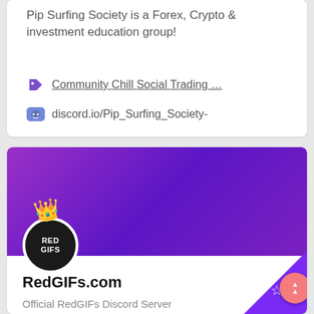Pip Surfing Society is a Forex, Crypto & investment education group!
Community Chill Social Trading …
discord.io/Pip_Surfing_Society-
[Figure (screenshot): RedGIFs.com Discord server card with purple gradient banner, crown emoji over circular dark logo, corner purple triangle badge with star, pink boost button, server name RedGIFs.com and description Official RedGIFs Discord Server]
RedGIFs.com
Official RedGIFs Discord Server